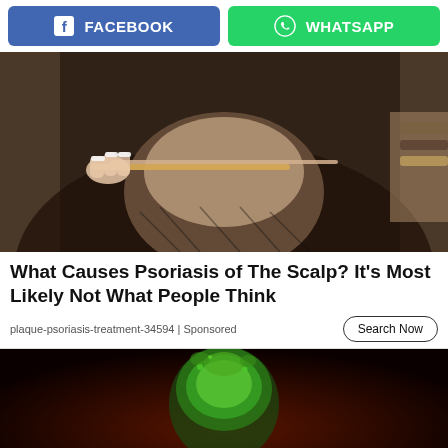[Figure (screenshot): Social share buttons: Facebook (blue) and WhatsApp (green)]
[Figure (photo): Close-up of a person's scalp being examined with a stick/comb, showing hair parting. Hands with white-painted nails visible. Bracelet visible on the right.]
What Causes Psoriasis of The Scalp? It's Most Likely Not What People Think
plaque-psoriasis-treatment-34594 | Sponsored
Search Now
[Figure (photo): Dark background advertisement image with a green toxic/radioactive glass and text 'CAMP LEJEUNE' in gold letters at the bottom]